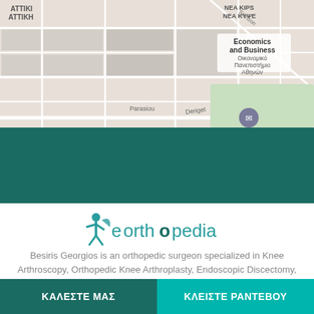[Figure (map): Google Maps view showing Athens area with labels: ΑΤΤΙΚΙ ΑΤΤΙΚΗ, Economics and Business / Οικονομικό Πανεπιστήμιο Αθηνών, NEA KIPS NEA KYΨE, Parasiou, Deriget, Alsos Theater]
[Figure (logo): eorthopedia logo with teal figure icon and stylized text 'eorthopedia']
Besiris Georgios is an orthopedic surgeon specialized in Knee Arthroscopy, Orthopedic Knee Arthroplasty, Endoscopic Discectomy, the treatment of disc herniation with Discogel. Of course it undertakes the treatment and rehabilitation of the whole spectrum of orthopedic diseases. Contact the orthopedic
ΚΑΛΕΣΤΕ ΜΑΣ   ΚΛΕΙΣΤΕ ΡΑΝΤΕΒΟΥ